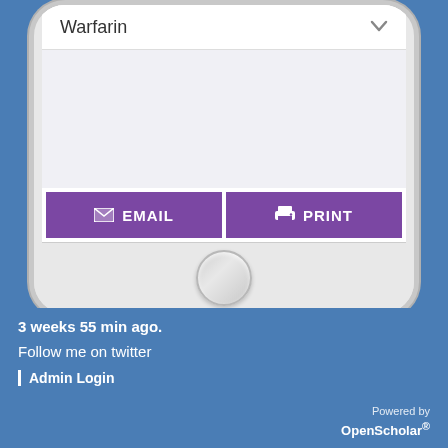[Figure (screenshot): Mobile phone mockup showing a medication app screen with 'Warfarin' in a dropdown selector, a gray content area, and two purple buttons labeled EMAIL and PRINT at the bottom. Below the screen is a home button.]
3 weeks 55 min ago.
Follow me on twitter
Admin Login
Powered by OpenScholar®